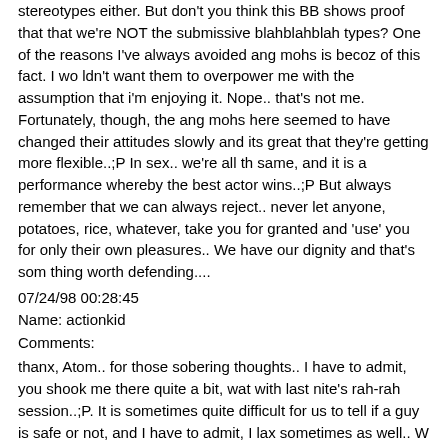stereotypes either. But don't you think this BB shows proof that that we're NOT the submissive blahblahblah types? One of the reasons I've always avoided ang mohs is becoz of this fact. I wo ldn't want them to overpower me with the assumption that i'm enjoying it. Nope.. that's not me. Fortunately, though, the ang mohs here seemed to have changed their attitudes slowly and its great that they're getting more flexible..;P In sex.. we're all th same, and it is a performance whereby the best actor wins..;P But always remember that we can always reject.. never let anyone, potatoes, rice, whatever, take you for granted and 'use' you for only their own pleasures.. We have our dignity and that's som thing worth defending....
07/24/98 00:28:45
Name: actionkid
Comments:
thanx, Atom.. for those sobering thoughts.. I have to admit, you shook me there quite a bit, wat with last nite's rah-rah session..;P. It is sometimes quite difficult for us to tell if a guy is safe or not, and I have to admit, I lax sometimes as well.. W h.. how to think of sooo many things when you're in the throes of 'passion'? But I agree with you.. we have to take care of ourselves and lay some ground rules.. For myself, I never fxxk